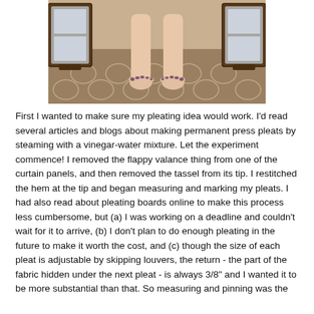[Figure (photo): Photo of a person's bare feet standing on a patterned rug, with decorative mirror frames visible on either side in the background.]
First I wanted to make sure my pleating idea would work. I'd read several articles and blogs about making permanent press pleats by steaming with a vinegar-water mixture. Let the experiment commence! I removed the flappy valance thing from one of the curtain panels, and then removed the tassel from its tip. I restitched the hem at the tip and began measuring and marking my pleats. I had also read about pleating boards online to make this process less cumbersome, but (a) I was working on a deadline and couldn't wait for it to arrive, (b) I don't plan to do enough pleating in the future to make it worth the cost, and (c) though the size of each pleat is adjustable by skipping louvers, the return - the part of the fabric hidden under the next pleat - is always 3/8" and I wanted it to be more substantial than that. So measuring and pinning was the